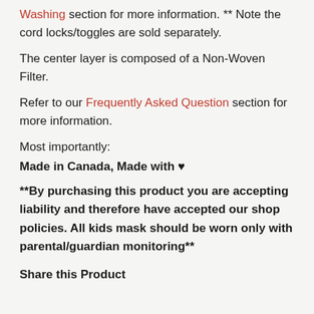Washing section for more information. ** Note the cord locks/toggles are sold separately.
The center layer is composed of a Non-Woven Filter.
Refer to our Frequently Asked Question section for more information.
Most importantly:
Made in Canada, Made with ♥
**By purchasing this product you are accepting liability and therefore have accepted our shop policies. All kids mask should be worn only with parental/guardian monitoring**
Share this Product